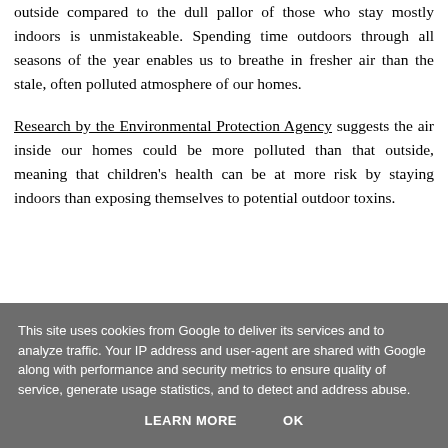outside compared to the dull pallor of those who stay mostly indoors is unmistakeable. Spending time outdoors through all seasons of the year enables us to breathe in fresher air than the stale, often polluted atmosphere of our homes.
Research by the Environmental Protection Agency suggests the air inside our homes could be more polluted than that outside, meaning that children's health can be at more risk by staying indoors than exposing themselves to potential outdoor toxins.
This site uses cookies from Google to deliver its services and to analyze traffic. Your IP address and user-agent are shared with Google along with performance and security metrics to ensure quality of service, generate usage statistics, and to detect and address abuse.
LEARN MORE    OK